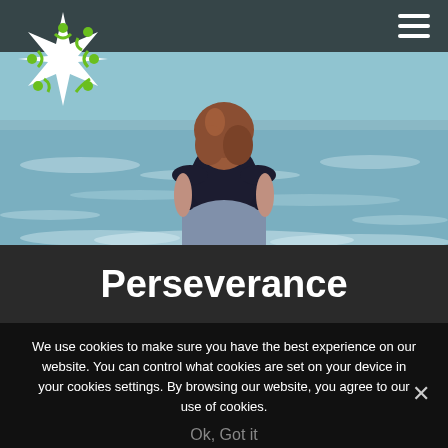[Figure (screenshot): Website screenshot showing a navigation header with a green/white community logo on the left and hamburger menu icon on the right, overlaying a hero image of a woman with reddish-brown hair viewed from behind, wearing a dark tank top and blue/gray skirt, standing at the ocean shore with blue-gray waves. Below the hero is a dark band with the title 'Perseverance' in bold white text, followed by a cookie consent notice overlay.]
Perseverance
We use cookies to make sure you have the best experience on our website. You can control what cookies are set on your device in your cookies settings. By browsing our website, you agree to our use of cookies.
Ok, Got it